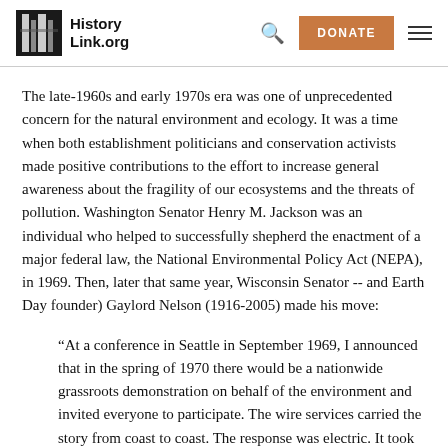HistoryLink.org
The late-1960s and early 1970s era was one of unprecedented concern for the natural environment and ecology. It was a time when both establishment politicians and conservation activists made positive contributions to the effort to increase general awareness about the fragility of our ecosystems and the threats of pollution. Washington Senator Henry M. Jackson was an individual who helped to successfully shepherd the enactment of a major federal law, the National Environmental Policy Act (NEPA), in 1969. Then, later that same year, Wisconsin Senator -- and Earth Day founder) Gaylord Nelson (1916-2005) made his move:
“At a conference in Seattle in September 1969, I announced that in the spring of 1970 there would be a nationwide grassroots demonstration on behalf of the environment and invited everyone to participate. The wire services carried the story from coast to coast. The response was electric. It took off like